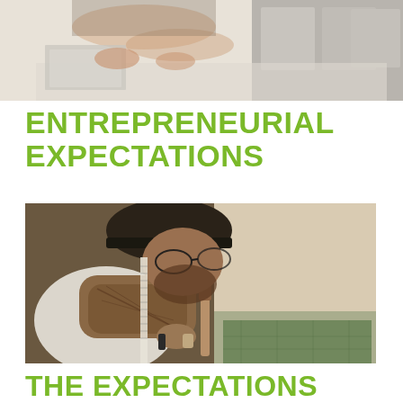[Figure (photo): Top photo showing hands working at a workshop or studio, partially cropped at top of page]
ENTREPRENEURIAL EXPECTATIONS
[Figure (photo): Man with tattoos, beard, glasses and dark cap leaning over a workbench, using a hand tool. Workshop setting.]
THE EXPECTATIONS GAME